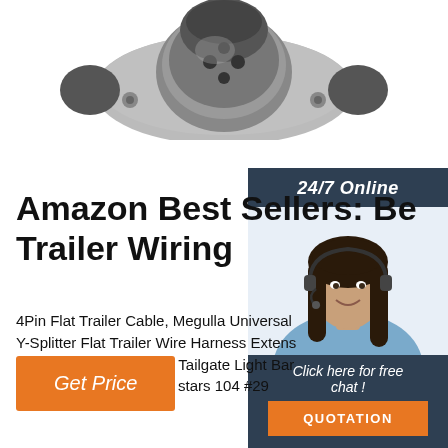[Figure (photo): Product photo of a metal trailer wiring connector plug, partially cropped at top]
[Figure (photo): 24/7 Online support chat widget with a woman wearing a headset, dark blue background, orange QUOTATION button]
Amazon Best Sellers: Be Trailer Wiring
4Pin Flat Trailer Cable, Megulla Universal Y-Splitter Flat Trailer Wire Harness Extens Connector Plug for LED Tailgate Light Bar Trailer Light 4.4 out of 5 stars 104 #29
Get Price